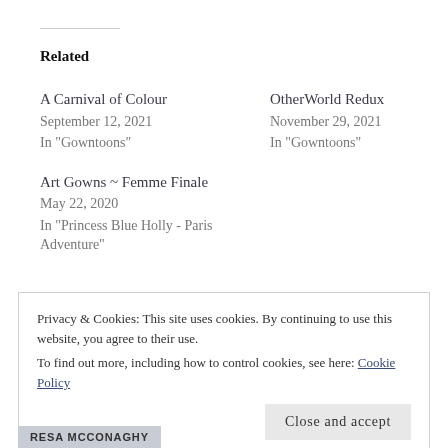Related
A Carnival of Colour
September 12, 2021
In "Gowntoons"
OtherWorld Redux
November 29, 2021
In "Gowntoons"
Art Gowns ~ Femme Finale
May 22, 2020
In "Princess Blue Holly - Paris Adventure"
Privacy & Cookies: This site uses cookies. By continuing to use this website, you agree to their use.
To find out more, including how to control cookies, see here: Cookie Policy
Close and accept
RESA MCCONAGHY